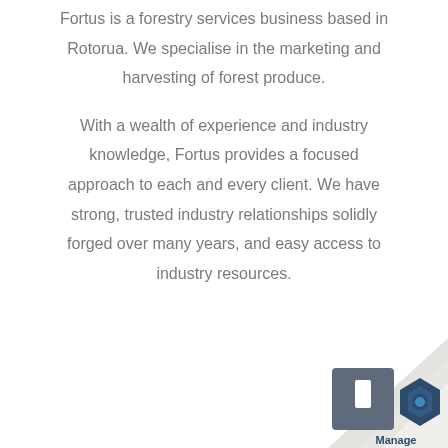Fortus is a forestry services business based in Rotorua. We specialise in the marketing and harvesting of forest produce.
With a wealth of experience and industry knowledge, Fortus provides a focused approach to each and every client. We have strong, trusted industry relationships solidly forged over many years, and easy access to industry resources.
[Figure (logo): Manage logo with hexagon icon and page-curl decoration in the bottom-right corner]